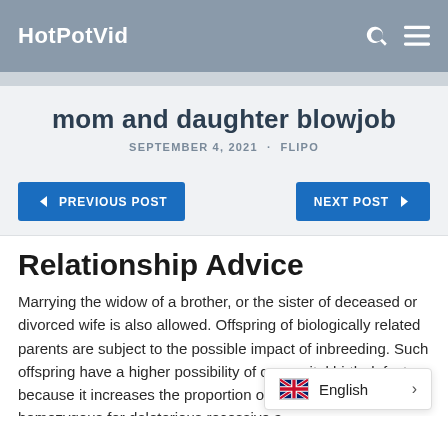HotPotVid
mom and daughter blowjob
SEPTEMBER 4, 2021 · FLIPO
PREVIOUS POST
NEXT POST
Relationship Advice
Marrying the widow of a brother, or the sister of deceased or divorced wife is also allowed. Offspring of biologically related parents are subject to the possible impact of inbreeding. Such offspring have a higher possibility of congenital birth defects because it increases the proportion of zygotes that are homozygous for deleterious recessive a... disorders . Because most such alleles a... is
English